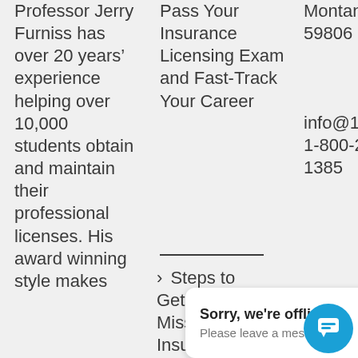Professor Jerry Furniss has over 20 years’ experience helping over 10,000 students obtain and maintain their professional licenses. His award winning style makes
Pass Your Insurance Licensing Exam and Fast-Track Your Career
Montana 59806
info@180licensing
1-800-270-1385
Steps to Getting Your Missouri Insurance ti...
Sorry, we’re offline
Please leave a message.